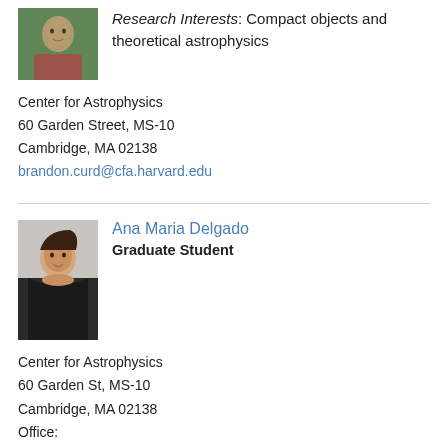[Figure (photo): Headshot photo of a young man outdoors with green foliage background]
Research Interests: Compact objects and theoretical astrophysics
Center for Astrophysics
60 Garden Street, MS-10
Cambridge, MA 02138
brandon.curd@cfa.harvard.edu
[Figure (photo): Headshot photo of a young woman with long dark hair, smiling, against a light background]
Ana Maria Delgado
Graduate Student
Center for Astrophysics
60 Garden St, MS-10
Cambridge, MA 02138
Office:
ana_maria.delgado@cfa.harvard.edu